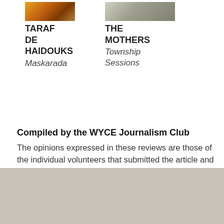[Figure (photo): Album cover photo for Taraf De Haidouks - colorful group photo]
TARAF DE HAIDOUKS
Maskarada
[Figure (photo): Album cover photo for The Mothers - group photo in light tones]
THE MOTHERS
Township Sessions
Compiled by the WYCE Journalism Club
The opinions expressed in these reviews are those of the individual volunteers that submitted the article and do not necessarily reflect the views of WYCE or GRCMC; nor its staff, donors, or affiliates.